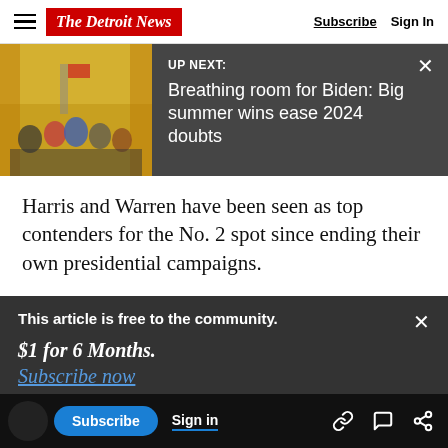The Detroit News  Subscribe  Sign In
[Figure (screenshot): UP NEXT banner with photo from a signing ceremony (crowd in room with gold curtains) and headline: Breathing room for Biden: Big summer wins ease 2024 doubts]
Harris and Warren have been seen as top contenders for the No. 2 spot since ending their own presidential campaigns.
Warren and Biden have forged a surprising bond
This article is free to the community.
$1 for 6 Months.
Subscribe now
iden already has adopted her proposed
coronavirus pandemic and resulting economic